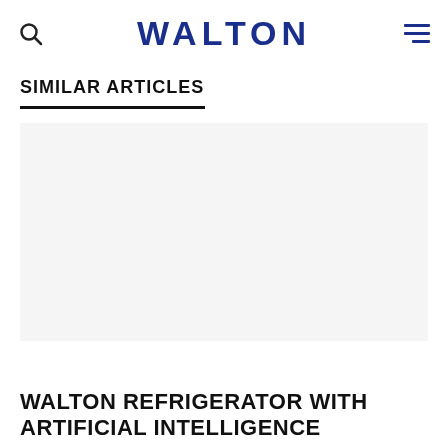WALTON
SIMILAR ARTICLES
[Figure (photo): Article thumbnail image placeholder (blank/white area)]
WALTON REFRIGERATOR WITH ARTIFICIAL INTELLIGENCE